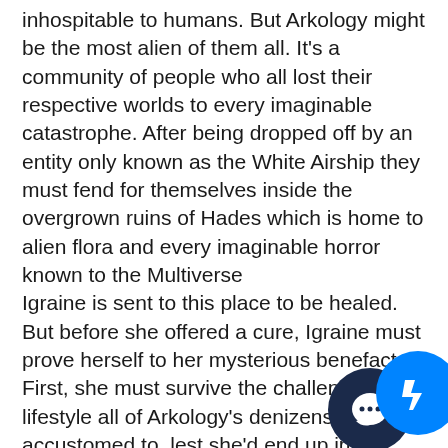inhospitable to humans. But Arkology might be the most alien of them all. It's a community of people who all lost their respective worlds to every imaginable catastrophe. After being dropped off by an entity only known as the White Airship they must fend for themselves inside the overgrown ruins of Hades which is home to alien flora and every imaginable horror known to the Multiverse
Igraine is sent to this place to be healed. But before she offered a cure, Igraine must prove herself to her mysterious benefactor. First, she must survive the challenging lifestyle all of Arkology's denizens most get accustomed to, lest she'd end up in the notorious Styx like all others who perished in this place. Igraine gets taught the safest way to survive but also learns about the
[Figure (other): Two overlapping circular chat/messenger icon buttons in the bottom-right corner: a dark navy circle with a white speech bubble icon, and a bright blue circle with a white Facebook Messenger lightning bolt icon.]